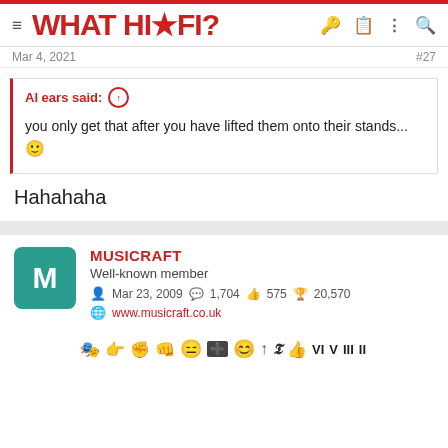WHAT HI-FI?
Mar 4, 2021  #27
Al ears said: ↑
you only get that after you have lifted them onto their stands... 🙂
Hahahaha
MUSICRAFT
Well-known member
Mar 23, 2009  1,704  575  20,570
www.musicraft.co.uk